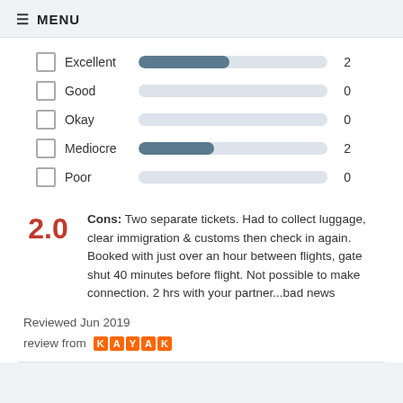≡ MENU
[Figure (bar-chart): Rating distribution]
2.0
Cons: Two separate tickets. Had to collect luggage, clear immigration & customs then check in again. Booked with just over an hour between flights, gate shut 40 minutes before flight. Not possible to make connection. 2 hrs with your partner...bad news
Reviewed Jun 2019
review from KAYAK